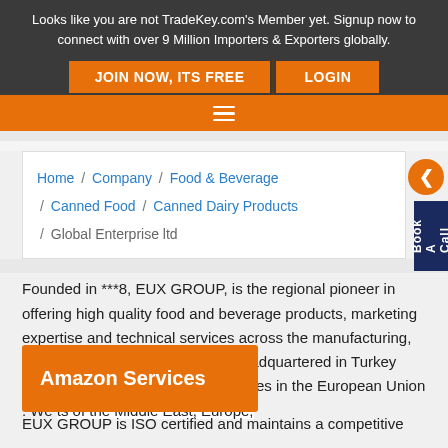Looks like you are not TradeKey.com's Member yet. Signup now to connect with over 9 Million Importers & Exporters globally.
JOIN NOW, ITS FREE   LOGIN
Home / Company / Food & Beverage / Canned Food / Canned Dairy Products / Global Enterprise ltd
Founded in ***8, EUX GROUP, is the regional pioneer in offering high quality food and beverage products, marketing expertise and technical services across the manufacturing, retail and hospitality industries. Headquartered in Turkey with offices and warehousing facilities in the European Union . We [...]ts of the Middle East, Europe,
Amazon Services
EUX GROUP is ISO certified and maintains a competitive